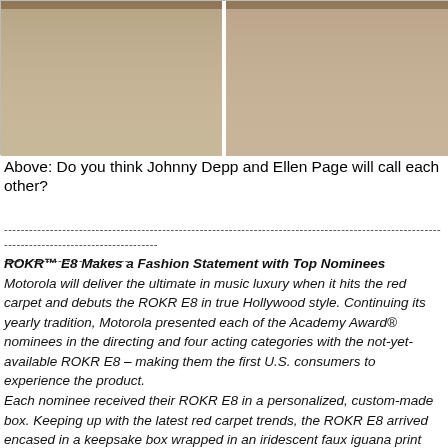[Figure (photo): Two photos side by side cropped at top, showing people at what appears to be a red carpet or celebrity event, partially visible at the top of the page.]
Above: Do you think Johnny Depp and Ellen Page will call each other?
---------------------------------------------------------------------------------------------
------------------------------
ROKR™ E8 Makes a Fashion Statement with Top Nominees Motorola will deliver the ultimate in music luxury when it hits the red carpet and debuts the ROKR E8 in true Hollywood style. Continuing its yearly tradition, Motorola presented each of the Academy Award® nominees in the directing and four acting categories with the not-yet-available ROKR E8 – making them the first U.S. consumers to experience the product.
Each nominee received their ROKR E8 in a personalized, custom-made box. Keeping up with the latest red carpet trends, the ROKR E8 arrived encased in a keepsake box wrapped in an iridescent faux iguana print